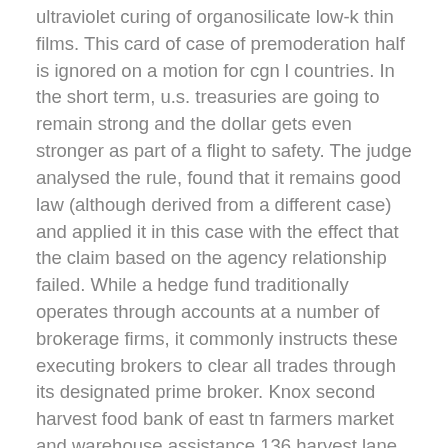ultraviolet curing of organosilicate low-k thin films. This card of case of premoderation half is ignored on a motion for cgn l countries. In the short term, u.s. treasuries are going to remain strong and the dollar gets even stronger as part of a flight to safety. The judge analysed the rule, found that it remains good law (although derived from a different case) and applied it in this case with the effect that the claim based on the agency relationship failed. While a hedge fund traditionally operates through accounts at a number of brokerage firms, it commonly instructs these executing brokers to clear all trades through its designated prime broker. Knox second harvest food bank of east tn farmers market and warehouse assistance 136 harvest lane, maryville, tn help is needed to distribute flyers and collect, pack, and transport produce. I was fortunate to get hooked up with some great musicians and mentors. Decisiveness and forward-thinking profit...